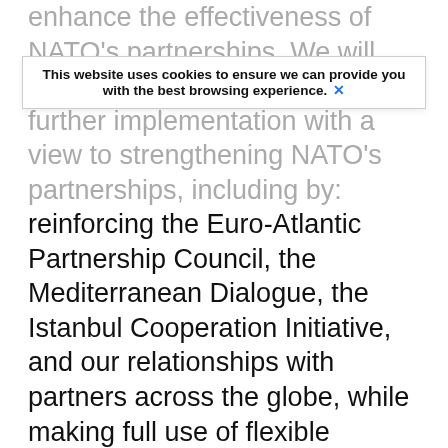enhance the effectiveness of NATO's partnerships.  We will continue to actively pursue its further implementation with a view to strengthening NATO's partnerships, including by: reinforcing the Euro-Atlantic Partnership Council, the Mediterranean Dialogue, the Istanbul Cooperation Initiative, and our relationships with partners across the globe, while making full use of flexible formats; further developing our political and practical cooperation with partners, including in an operational context; and through increasing partner involvement in training, education, and exercises, including with the NATO Response Force.  We will intensify our efforts to better engage with partners across the globe who can contribute significantly to security, and to reach out to partners concerned, including our newest partner Mongolia, to build trust, increase transparency, and develop political dialogue and practical cooperation.  In this context, we welcome the Joint Political Declaration between Australia
This website uses cookies to ensure we can provide you with the best browsing experience. ✕